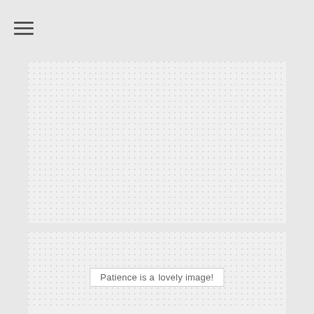[Figure (other): Hamburger menu icon (three horizontal lines) in the top-left navigation bar area]
[Figure (other): Two rectangular dotted grid panels stacked vertically with a white gap between them. A centered text box reading 'Patience is a lovely image!' is overlaid on the lower portion of the bottom panel.]
Patience is a lovely image!